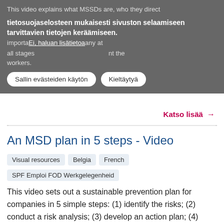This video explains what MSSDs are, who they direct tietosuojaselosteen mukaisesti sivuston selaamiseen tarvittavien tietojen keräämiseen. Ei, haluan lisätietoa important managing them in any at all stages workers.
Sallin evästeiden käytön | Kieltäytyä
Katso lisää →
An MSD plan in 5 steps - Video
Visual resources
Belgia
French
SPF Emploi FOD Werkgelegenheid
This video sets out a sustainable prevention plan for companies in 5 simple steps: (1) identify the risks; (2) conduct a risk analysis; (3) develop an action plan; (4) execute the plan; and (5) evaluate the plan.